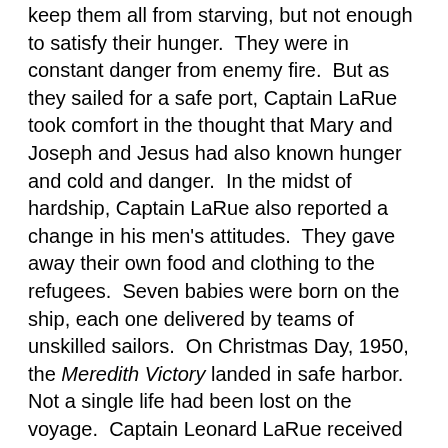keep them all from starving, but not enough to satisfy their hunger. They were in constant danger from enemy fire. But as they sailed for a safe port, Captain LaRue took comfort in the thought that Mary and Joseph and Jesus had also known hunger and cold and danger. In the midst of hardship, Captain LaRue also reported a change in his men's attitudes. They gave away their own food and clothing to the refugees. Seven babies were born on the ship, each one delivered by teams of unskilled sailors. On Christmas Day, 1950, the Meredith Victory landed in safe harbor. Not a single life had been lost on the voyage. Captain Leonard LaRue received high military awards from the South Korean and the U.S. government for his part in the refugee rescue.
— Four years later, Captain LaRue left the military to join a Benedictine monastery, where he spent the rest of his life. In his journals, he once wrote, “The clear, unmistakable message comes to me that, on that Christmastide in the bleak and bitter waters off the shore of Korea, God’s hand was at the helm of our ship.” [Thomas Fleming, “Bravery at...